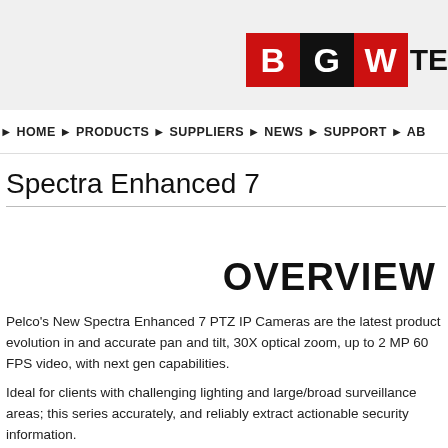[Figure (logo): BGW Technologies logo with red B, black G, red W blocks followed by 'TE' text]
HOME ▶ PRODUCTS ▶ SUPPLIERS ▶ NEWS ▶ SUPPORT ▶ AB
Spectra Enhanced 7
OVERVIEW
Pelco's New Spectra Enhanced 7 PTZ IP Cameras are the latest product evolution in and accurate pan and tilt, 30X optical zoom, up to 2 MP 60 FPS video, with next gen capabilities.
Ideal for clients with challenging lighting and large/broad surveillance areas; this series accurately, and reliably extract actionable security information.